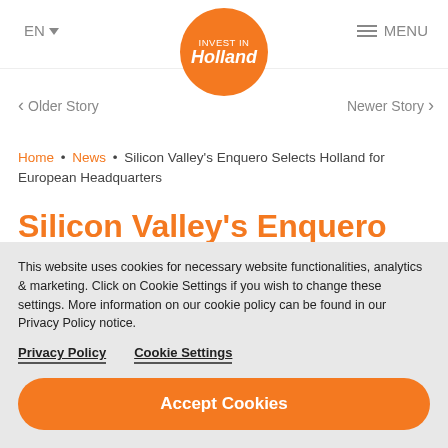EN MENU
[Figure (logo): Invest in Holland orange circle logo with white text]
< Older Story    Newer Story >
Home • News • Silicon Valley's Enquero Selects Holland for European Headquarters
Silicon Valley's Enquero Selects Holland for European Headquarters
This website uses cookies for necessary website functionalities, analytics & marketing. Click on Cookie Settings if you wish to change these settings. More information on our cookie policy can be found in our Privacy Policy notice.
Privacy Policy   Cookie Settings
Accept Cookies